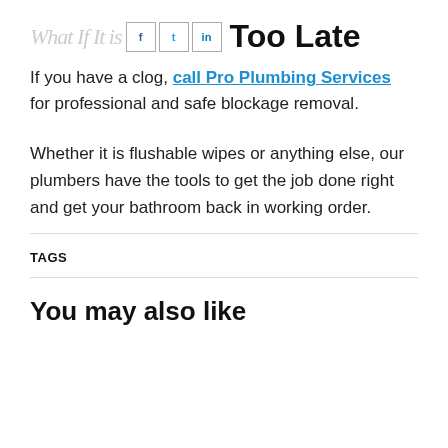What If It is Too Late
If you have a clog, call Pro Plumbing Services for professional and safe blockage removal.
Whether it is flushable wipes or anything else, our plumbers have the tools to get the job done right and get your bathroom back in working order.
TAGS
You may also like